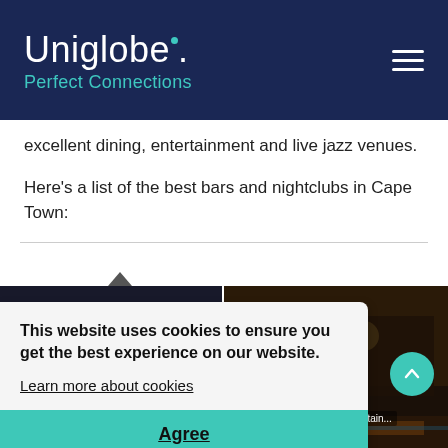Uniglobe. Perfect Connections
excellent dining, entertainment and live jazz venues.
Here's a list of the best bars and nightclubs in Cape Town:
[Figure (photo): Long Street nightlife photo]
Long Street
NegativeC/WikimediaCommons
[Figure (photo): GrandWest Casino and Entertainment photo with casino chips and roulette table]
GrandWest Casino and Entertain...
whekeyi / Pixabay
This website uses cookies to ensure you get the best experience on our website. Learn more about cookies
Agree